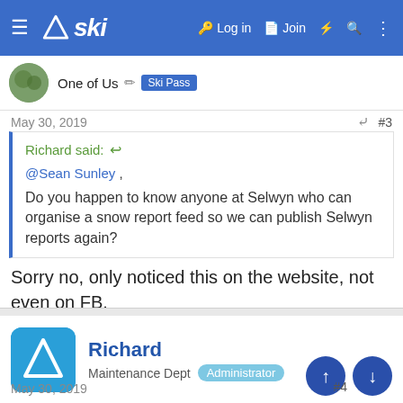ski — Log in  Join
One of Us  Ski Pass
May 30, 2019  #3
Richard said:
@Sean Sunley ,
Do you happen to know anyone at Selwyn who can organise a snow report feed so we can publish Selwyn reports again?
Sorry no, only noticed this on the website, not even on FB.
Richard
Maintenance Dept  Administrator
May 30, 2019  #4